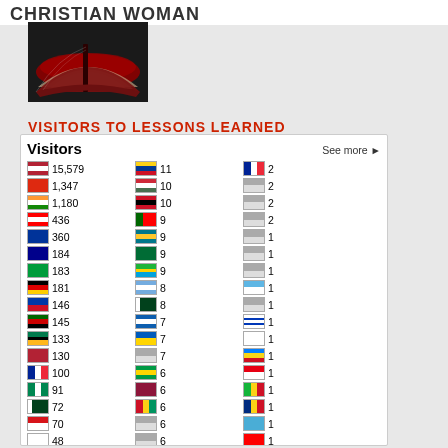CHRISTIAN WOMAN
[Figure (photo): Open Bible/book with red pages, dark background]
VISITORS TO LESSONS LEARNED
[Figure (infographic): Visitors widget showing country flags and visitor counts. Top entries: US 15,579; China 1,347; India 1,180; Canada 436; UK 360; Australia 184; Brazil 183; Germany 181; Philippines 146; Kenya 145; South Africa 133; 130; France 100; Nigeria 91; Pakistan 72; Czech 70; Korea 48; Japan 41; Austria 41; 38. Middle column: Colombia 11; Hungary 10; Trinidad 10; Portugal 9; Bahamas 9; Saudi Arabia 9; Tanzania 9; Argentina 8; Pakistan 8; Greece 7; Ukraine 7; 7; 6; Sri Lanka 6; Guinea 6; 6; 6; Puerto Rico 6; 6; Fiji 5. Right column: France 2; 2; 2; Dominican 2; 1; 1; 1; Solomon 1; 1; France 1; Finland 1; Congo 1; Tunisia 1; Mali 1; Romania 1; Palau 1; Taiwan 1; Paraguay 1; Latvia 1; Fiji 1]